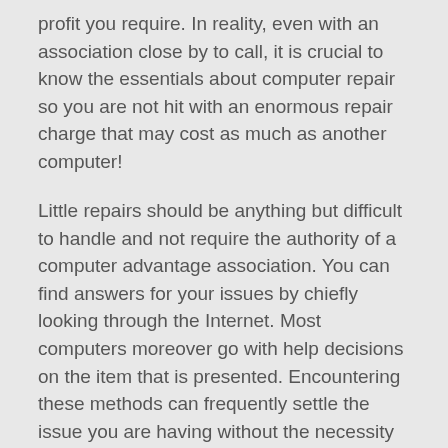profit you require. In reality, even with an association close by to call, it is crucial to know the essentials about computer repair so you are not hit with an enormous repair charge that may cost as much as another computer!
Little repairs should be anything but difficult to handle and not require the authority of a computer advantage association. You can find answers for your issues by chiefly looking through the Internet. Most computers moreover go with help decisions on the item that is presented. Encountering these methods can frequently settle the issue you are having without the necessity for a repair association. Computer Repair
Encountering these methods won't be the solution for your worry. There will be times you will require computer organization to settle the present issue. In case you are lucky, and your computer is still under its certification period, you can contact the creator to help with any issues